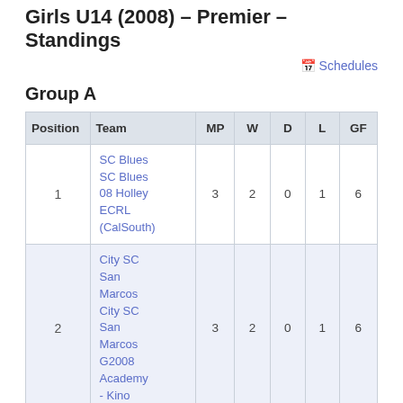Girls U14 (2008) - Premier - Standings
Schedules
Group A
| Position | Team | MP | W | D | L | GF |
| --- | --- | --- | --- | --- | --- | --- |
| 1 | SC Blues SC Blues 08 Holley ECRL (CalSouth) | 3 | 2 | 0 | 1 | 6 |
| 2 | City SC San Marcos City SC San Marcos G2008 Academy - Kino | 3 | 2 | 0 | 1 | 6 |